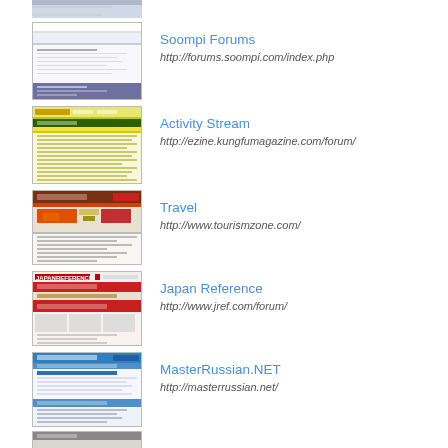[Figure (screenshot): Partial screenshot of a website at top of page (cropped)]
[Figure (screenshot): Screenshot of Soompi Forums website]
Soompi Forums
http://forums.soompi.com/index.php
[Figure (screenshot): Screenshot of Activity Stream / ezine.kungfumagazine.com forum]
Activity Stream
http://ezine.kungfumagazine.com/forum/
[Figure (screenshot): Screenshot of Travel / tourismzone.com website]
Travel
http://www.tourismzone.com/
[Figure (screenshot): Screenshot of Japan Reference website]
Japan Reference
http://www.jref.com/forum/
[Figure (screenshot): Screenshot of MasterRussian.NET website]
MasterRussian.NET
http://masterrussian.net/
[Figure (screenshot): Partial screenshot of another website at bottom (cropped)]